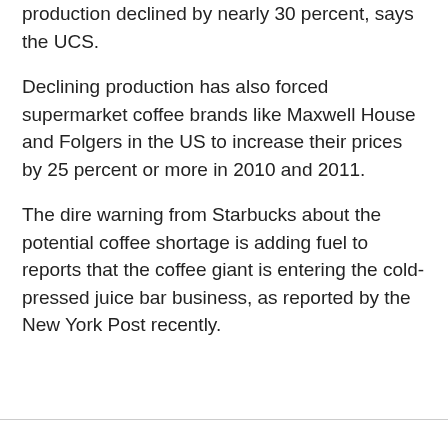production declined by nearly 30 percent, says the UCS.
Declining production has also forced supermarket coffee brands like Maxwell House and Folgers in the US to increase their prices by 25 percent or more in 2010 and 2011.
The dire warning from Starbucks about the potential coffee shortage is adding fuel to reports that the coffee giant is entering the cold-pressed juice bar business, as reported by the New York Post recently.